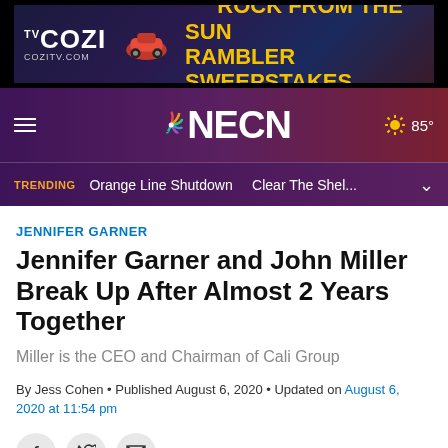[Figure (illustration): COZI TV advertisement banner: 3rd Rock from the Sun Rambler Sweepstakes, dark blue background with red car graphic, text in yellow reading '3RD ROCK FROM THE SUN RAMBLER SWEEPSTAKES', COZITV.COM url]
NECN — Navigation bar with hamburger menu, NBC peacock logo, NECN text, weather showing 85°
TRENDING  Orange Line Shutdown  Clear The Shel...
JENNIFER GARNER
Jennifer Garner and John Miller Break Up After Almost 2 Years Together
Miller is the CEO and Chairman of Cali Group
By Jess Cohen • Published August 6, 2020 • Updated on August 6, 2020 at 11:54 pm
[Figure (other): Social sharing icons: Facebook (f), Twitter (bird), Email (envelope)]